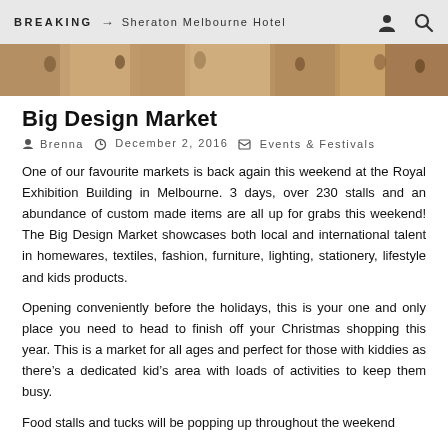BREAKING → Sheraton Melbourne Hotel
[Figure (photo): Crowd of people at an indoor market event in a large hall]
Big Design Market
Brenna   December 2, 2016   Events & Festivals
One of our favourite markets is back again this weekend at the Royal Exhibition Building in Melbourne. 3 days, over 230 stalls and an abundance of custom made items are all up for grabs this weekend! The Big Design Market showcases both local and international talent in homewares, textiles, fashion, furniture, lighting, stationery, lifestyle and kids products.
Opening conveniently before the holidays, this is your one and only place you need to head to finish off your Christmas shopping this year. This is a market for all ages and perfect for those with kiddies as there's a dedicated kid's area with loads of activities to keep them busy.
Food stalls and tucks will be popping up throughout the weekend